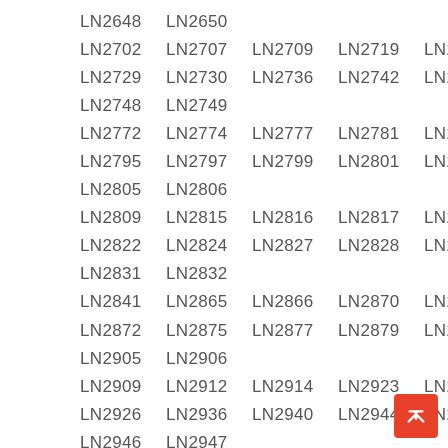LN2648  LN2650
LN2702  LN2707  LN2709  LN2719  LN2724
LN2729  LN2730  LN2736  LN2742  LN2743
LN2748  LN2749
LN2772  LN2774  LN2777  LN2781  LN2793
LN2795  LN2797  LN2799  LN2801  LN2802
LN2805  LN2806
LN2809  LN2815  LN2816  LN2817  LN2821
LN2822  LN2824  LN2827  LN2828  LN2830
LN2831  LN2832
LN2841  LN2865  LN2866  LN2870  LN2871
LN2872  LN2875  LN2877  LN2879  LN2904
LN2905  LN2906
LN2909  LN2912  LN2914  LN2923  LN2924
LN2926  LN2936  LN2940  LN2944  LN2945
LN2946  LN2947
LN2948  LN2949  LN2950  LN2951  LN2952